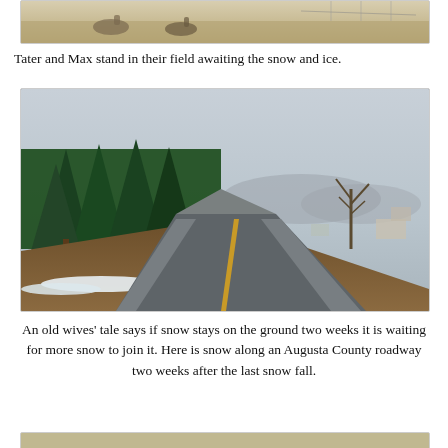[Figure (photo): Top portion of a photo showing horses standing in a field, cropped at top of page]
Tater and Max stand in their field awaiting the snow and ice.
[Figure (photo): A winding two-lane rural road with evergreen trees on the left embankment, bare trees on the right, patches of snow along the roadside, overcast winter sky, Augusta County Virginia]
An old wives’ tale says if snow stays on the ground two weeks it is waiting for more snow to join it. Here is snow along an Augusta County roadway two weeks after the last snow fall.
[Figure (photo): Bottom of another photo, partially visible at page bottom]